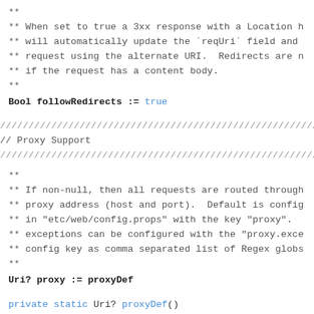** 
** When set to true a 3xx response with a Location h
** will automatically update the `reqUri` field and
** request using the alternate URI.  Redirects are n
** if the request has a content body.
**
Bool followRedirects := true
////////////////////////////////////////////////////////////
// Proxy Support
////////////////////////////////////////////////////////////
**
** If non-null, then all requests are routed through
** proxy address (host and port).  Default is config
** in "etc/web/config.props" with the key "proxy".
** exceptions can be configured with the "proxy.exce
** config key as comma separated list of Regex globs
**
Uri? proxy := proxyDef
private static Uri? proxyDef()
{
  try
    return WebClient#.pod.config("proxy")?.toUri